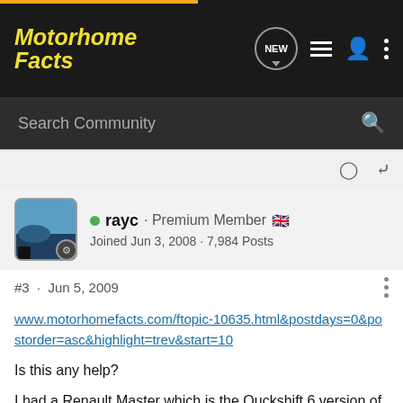Motorhome Facts
Search Community
rayc · Premium Member 🇬🇧
Joined Jun 3, 2008 · 7,984 Posts
#3 · Jun 5, 2009
www.motorhomefacts.com/ftopic-10635.html&postdays=0&postorder=asc&highlight=trev&start=10
Is this any help?
I had a Renault Master which is the Quckshift 6 version of your gearbox. I had a problem the the Engine Malfunction Indicator